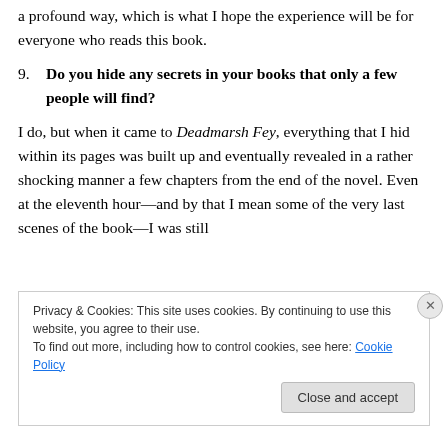a profound way, which is what I hope the experience will be for everyone who reads this book.
9. Do you hide any secrets in your books that only a few people will find?
I do, but when it came to Deadmarsh Fey, everything that I hid within its pages was built up and eventually revealed in a rather shocking manner a few chapters from the end of the novel. Even at the eleventh hour—and by that I mean some of the very last scenes of the book—I was still
Privacy & Cookies: This site uses cookies. By continuing to use this website, you agree to their use.
To find out more, including how to control cookies, see here: Cookie Policy